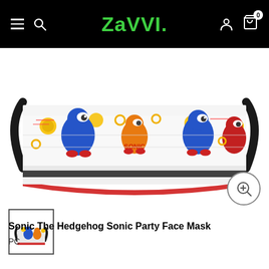Zavvi
[Figure (photo): Sonic The Hedgehog Sonic Party face mask shown close-up with colorful Sonic characters pattern and black elastic ear loops]
[Figure (photo): Small thumbnail of the same Sonic face mask viewed from a distance]
Sonic The Hedgehog Sonic Party Face Mask
PC